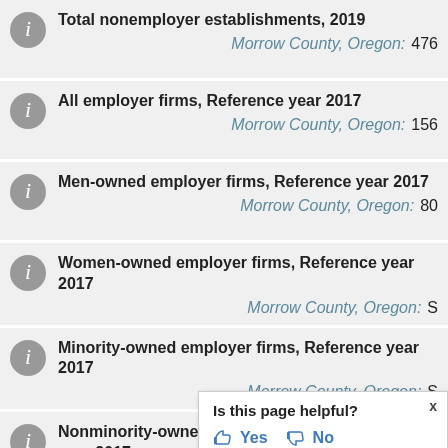Total nonemployer establishments, 2019 — Morrow County, Oregon: 476
All employer firms, Reference year 2017 — Morrow County, Oregon: 156
Men-owned employer firms, Reference year 2017 — Morrow County, Oregon: 80
Women-owned employer firms, Reference year 2017 — Morrow County, Oregon: S
Minority-owned employer firms, Reference year 2017 — Morrow County, Oregon: S
Nonminority-owned employer firms, Reference year 2017